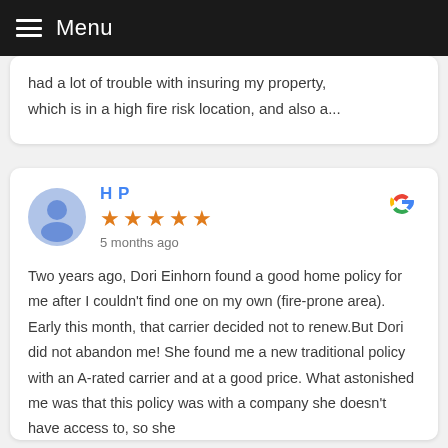Menu
had a lot of trouble with insuring my property, which is in a high fire risk location, and also a...
H P
★★★★★
5 months ago
Two years ago, Dori Einhorn found a good home policy for me after I couldn't find one on my own (fire-prone area). Early this month, that carrier decided not to renew.But Dori did not abandon me! She found me a new traditional policy with an A-rated carrier and at a good price. What astonished me was that this policy was with a company she doesn't have access to, so she